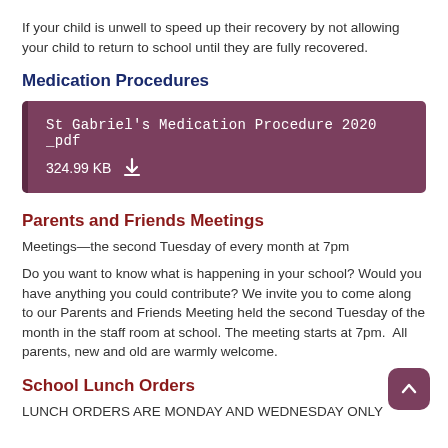If your child is unwell to speed up their recovery by not allowing your child to return to school until they are fully recovered.
Medication Procedures
[Figure (other): File download box showing 'St Gabriel's Medication Procedure 2020 _pdf' with file size 324.99 KB and a download icon, on a dark rose/mauve background]
Parents and Friends Meetings
Meetings—the second Tuesday of every month at 7pm
Do you want to know what is happening in your school? Would you have anything you could contribute? We invite you to come along to our Parents and Friends Meeting held the second Tuesday of the month in the staff room at school. The meeting starts at 7pm.  All parents, new and old are warmly welcome.
School Lunch Orders
LUNCH ORDERS ARE MONDAY AND WEDNESDAY ONLY